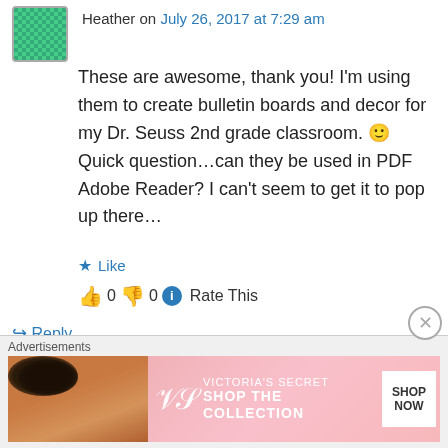Heather on July 26, 2017 at 7:29 am
These are awesome, thank you! I'm using them to create bulletin boards and decor for my Dr. Seuss 2nd grade classroom. 🙂
Quick question…can they be used in PDF Adobe Reader? I can't seem to get it to pop up there…
★ Like
👍 0 👎 0 ℹ Rate This
↪ Reply
Pamela Snow on August 5, 2017 at 2:06 pm
[Figure (photo): Victoria's Secret pink advertisement banner with a woman model, VS logo, SHOP THE COLLECTION text, and SHOP NOW button]